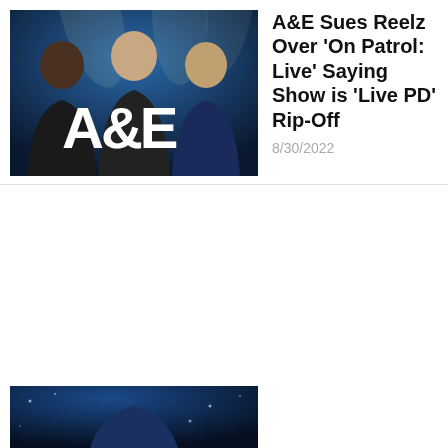[Figure (photo): Promotional image for A&E network featuring three men in dark shirts with the A&E logo overlaid, set against a blue-lit background with spotlights]
A&E Sues Reelz Over 'On Patrol: Live' Saying Show is 'Live PD' Rip-Off
8/30/2022
[Figure (photo): Partially visible promotional photo with dark blue background, cropped at bottom of page]